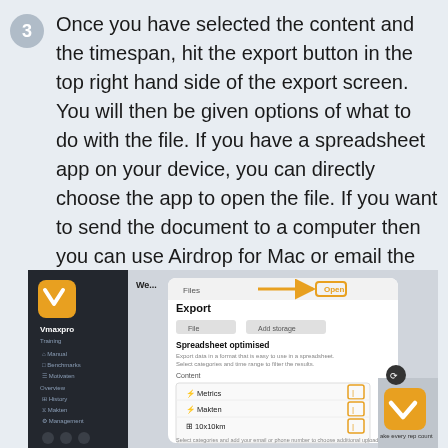3 Once you have selected the content and the timespan, hit the export button in the top right hand side of the export screen. You will then be given options of what to do with the file. If you have a spreadsheet app on your device, you can directly choose the app to open the file. If you want to send the document to a computer then you can use Airdrop for Mac or email the file to yourself.
[Figure (screenshot): Screenshot of the Vmaxpro app showing an Export dialog with 'Spreadsheet optimised' option, a list of metrics (Metrics, Makten, 10x10km), and an arrow pointing to an 'Open' button in the top right corner of the dialog.]